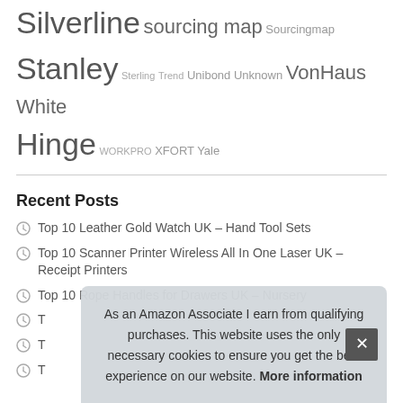Silverline sourcing map Sourcingmap Stanley Sterling Trend Unibond Unknown VonHaus White Hinge WORKPRO XFORT Yale
Recent Posts
Top 10 Leather Gold Watch UK – Hand Tool Sets
Top 10 Scanner Printer Wireless All In One Laser UK – Receipt Printers
Top 10 Rope Handles for Drawers UK – Nursery
T
T
T
As an Amazon Associate I earn from qualifying purchases. This website uses the only necessary cookies to ensure you get the best experience on our website. More information